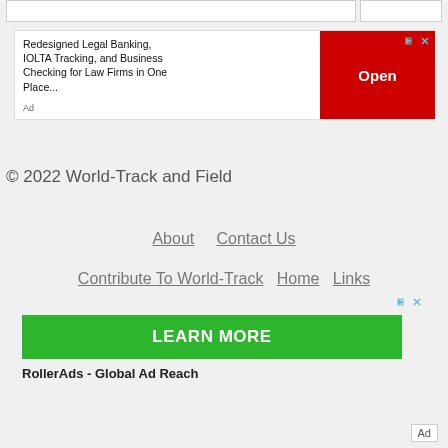[Figure (screenshot): Top navigation bar partial view with two white box elements]
[Figure (screenshot): Advertisement banner: Redesigned Legal Banking, IOLTA Tracking, and Business Checking for Law Firms in One Place. With red Open button.]
© 2022 World-Track and Field
About   Contact Us
Contribute To World-Track   Home   Links
[Figure (screenshot): Green LEARN MORE button advertisement banner]
RollerAds - Global Ad Reach
Ad